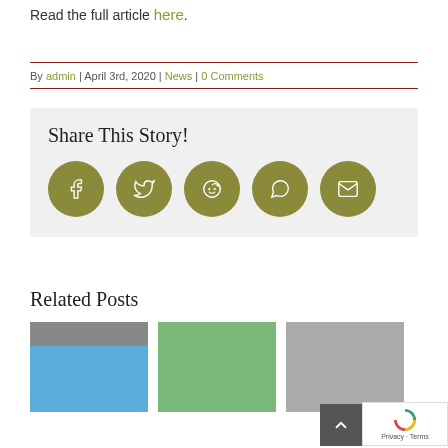Read the full article here.
By admin | April 3rd, 2020 | News | 0 Comments
Share This Story!
[Figure (infographic): Five golden circular social share icons: Facebook, Twitter, Reddit, WhatsApp, Email]
Related Posts
[Figure (photo): Three related post thumbnail images at the bottom of the page]